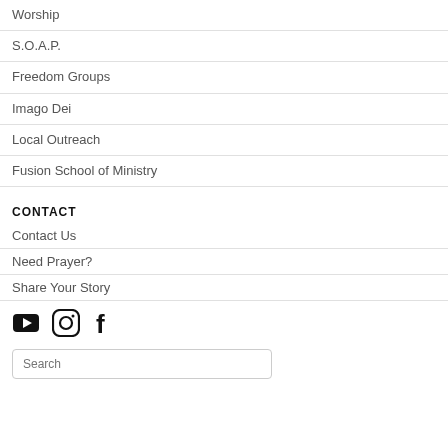Worship
S.O.A.P.
Freedom Groups
Imago Dei
Local Outreach
Fusion School of Ministry
CONTACT
Contact Us
Need Prayer?
Share Your Story
[Figure (other): Social media icons: YouTube, Instagram, Facebook]
Search